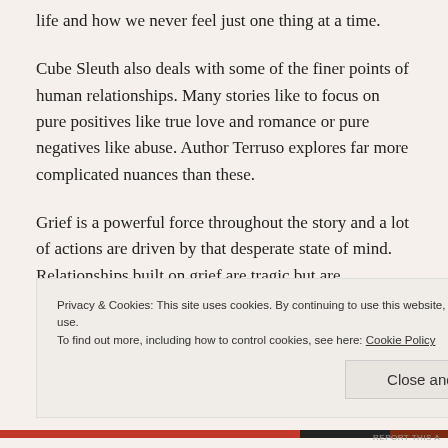life and how we never feel just one thing at a time.
Cube Sleuth also deals with some of the finer points of human relationships. Many stories like to focus on pure positives like true love and romance or pure negatives like abuse. Author Terruso explores far more complicated nuances than these.
Grief is a powerful force throughout the story and a lot of actions are driven by that desperate state of mind. Relationships built on grief are tragic but are
Privacy & Cookies: This site uses cookies. By continuing to use this website, you agree to their use.
To find out more, including how to control cookies, see here: Cookie Policy
Close and accept